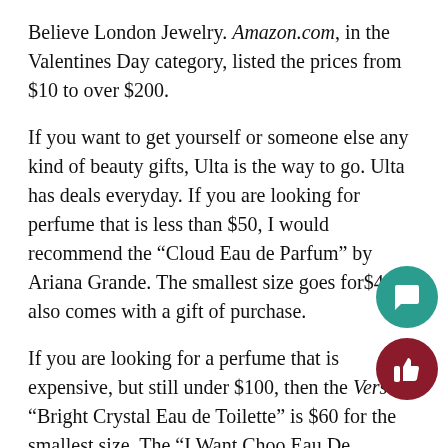Believe London Jewelry. Amazon.com, in the Valentines Day category, listed the prices from $10 to over $200.
If you want to get yourself or someone else any kind of beauty gifts, Ulta is the way to go. Ulta has deals everyday. If you are looking for perfume that is less than $50, I would recommend the “Cloud Eau de Parfum” by Ariana Grande. The smallest size goes for$44. It also comes with a gift of purchase.
If you are looking for a perfume that is expensive, but still under $100, then the Versace “Bright Crystal Eau de Toilette” is $60 for the smallest size. The “I Want Choo Eau De Parfum” by Jimmy Choo is new at Ulta with a price of $65 for the smallest size. There are plenty of more brands such as Armani, Marc Jacobs, Kate Spade, and more.
If you are looking for a cologne at Ulta, the cheapest cologne with a good brand is MontBlanc’s “Explorer Eau…